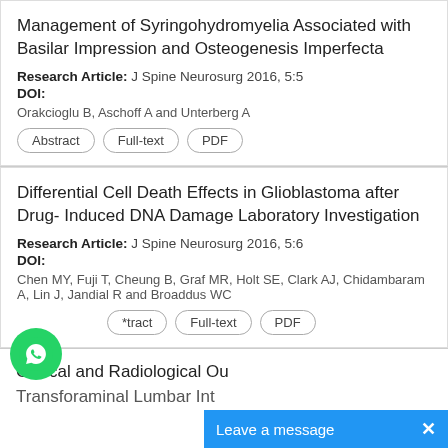Management of Syringohydromyelia Associated with Basilar Impression and Osteogenesis Imperfecta
Research Article: J Spine Neurosurg 2016, 5:5
DOI:
Orakcioglu B, Aschoff A and Unterberg A
Abstract | Full-text | PDF
Differential Cell Death Effects in Glioblastoma after Drug- Induced DNA Damage Laboratory Investigation
Research Article: J Spine Neurosurg 2016, 5:6
DOI:
Chen MY, Fuji T, Cheung B, Graf MR, Holt SE, Clark AJ, Chidambaram A, Lin J, Jandial R and Broaddus WC
Abstract | Full-text | PDF
Clinical and Radiological Ou... Transforaminal Lumbar Int...
[Figure (other): WhatsApp contact button (green circle with phone icon)]
Leave a message  X